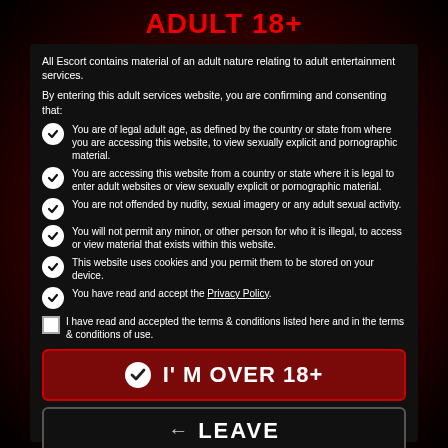ADULT 18+
All Escort contains material of an adult nature relating to adult entertainment services.
By entering this adult services website, you are confirming and consenting that:
You are of legal adult age, as defined by the country or state from where you are accessing this website, to view sexually explicit and pornographic material.
You are accessing this website from a country or state where it is legal to enter adult websites or view sexually explicit or pornographic material.
You are not offended by nudity, sexual imagery or any adult sexual activity.
You will not permit any minor, or other person for who it is illegal, to access or view material that exists within this website.
This website uses cookies and you permit them to be stored on your device.
You have read and accept the Privacy Policy.
I have read and accepted the terms & conditions listed here and in the terms & conditions of use.
I' M OVER 18+
LEAVE